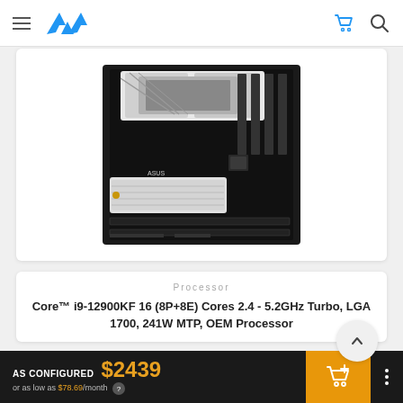[Figure (screenshot): AVA computer store website navigation bar with hamburger menu, AVA logo in blue, shopping cart icon, and search icon]
[Figure (photo): Partial top-down view of a white and black ASUS motherboard]
Processor
Core™ i9-12900KF 16 (8P+8E) Cores 2.4 - 5.2GHz Turbo, LGA 1700, 241W MTP, OEM Processor
[Figure (photo): Intel Core i9 processor box, blue with i9 branding]
AS CONFIGURED $2439 or as low as $78.69/month